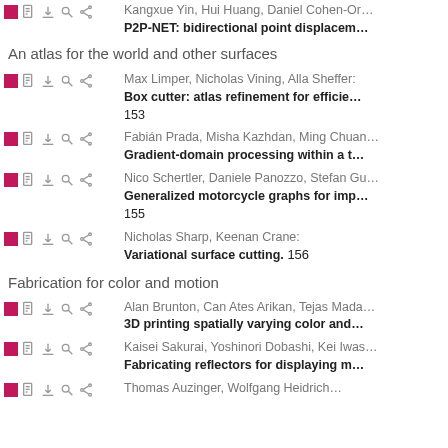Kangxue Yin, Hui Huang, Daniel Cohen-Or: P2P-NET: bidirectional point displacem…
An atlas for the world and other surfaces
Max Limper, Nicholas Vining, Alla Sheffer: Box cutter: atlas refinement for efficie… 153
Fabián Prada, Misha Kazhdan, Ming Chuan…: Gradient-domain processing within a t…
Nico Schertler, Daniele Panozzo, Stefan Gu…: Generalized motorcycle graphs for imp… 155
Nicholas Sharp, Keenan Crane: Variational surface cutting. 156
Fabrication for color and motion
Alan Brunton, Can Ates Arikan, Tejas Mada…: 3D printing spatially varying color and…
Kaisei Sakurai, Yoshinori Dobashi, Kei Iwas…: Fabricating reflectors for displaying m…
Thomas Auzinger, Wolfgang Heidrich…